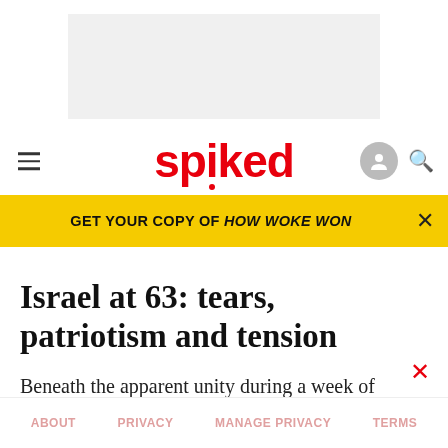spiked
GET YOUR COPY OF HOW WOKE WON
Israel at 63: tears, patriotism and tension
Beneath the apparent unity during a week of remembrance there lie deep divisions in Israeli society.
ABOUT   PRIVACY   MANAGE PRIVACY   TERMS